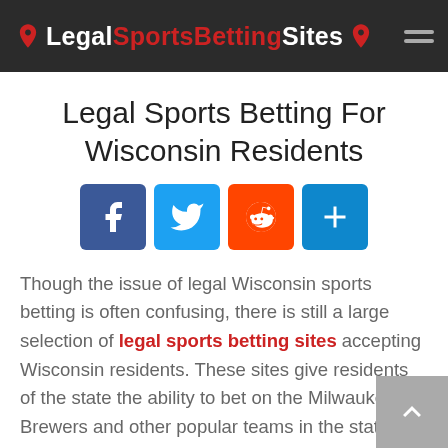LegalSportsBettingSites
Legal Sports Betting For Wisconsin Residents
[Figure (infographic): Social sharing buttons: Facebook (blue), Twitter (light blue), Reddit (orange), Share/plus (blue)]
Though the issue of legal Wisconsin sports betting is often confusing, there is still a large selection of legal sports betting sites accepting Wisconsin residents. These sites give residents of the state the ability to bet on the Milwaukee Brewers and other popular teams in the state. The action at online sports betting sites rivals that of the Vegas strip, and being that this is the only place with single-game sports wagering,